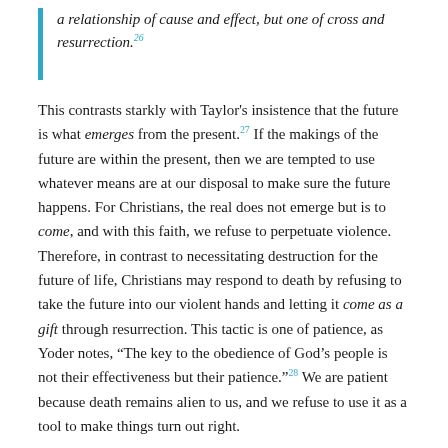a relationship of cause and effect, but one of cross and resurrection.26
This contrasts starkly with Taylor's insistence that the future is what emerges from the present.27 If the makings of the future are within the present, then we are tempted to use whatever means are at our disposal to make sure the future happens. For Christians, the real does not emerge but is to come, and with this faith, we refuse to perpetuate violence. Therefore, in contrast to necessitating destruction for the future of life, Christians may respond to death by refusing to take the future into our violent hands and letting it come as a gift through resurrection. This tactic is one of patience, as Yoder notes, “The key to the obedience of God’s people is not their effectiveness but their patience.”28 We are patient because death remains alien to us, and we refuse to use it as a tool to make things turn out right.
Another implication of the Christian priority of the future in relation to death is the affirmation of earthly life—we don’t go to heaven, heaven comes to us. Christianity is not an escapist strategy, and this is where